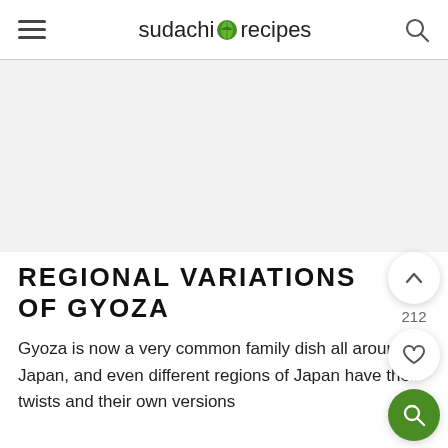sudachi recipes
[Figure (other): Advertisement / image area, light gray background]
REGIONAL VARIATIONS OF GYOZA
Gyoza is now a very common family dish all around Japan, and even different regions of Japan have their twists and their own versions